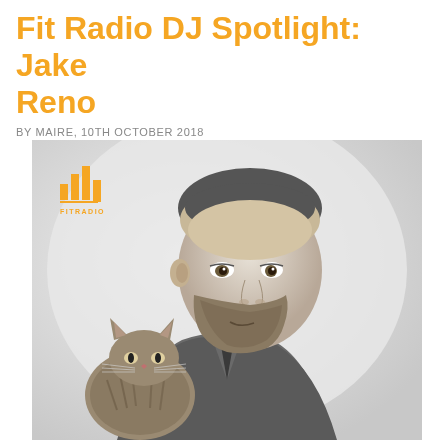Fit Radio DJ Spotlight: Jake Reno
BY MAIRE, 10TH OCTOBER 2018
[Figure (photo): Black and white photo of a bearded man in a blazer holding a cat, with a Fit Radio logo watermark in the upper left of the photo.]